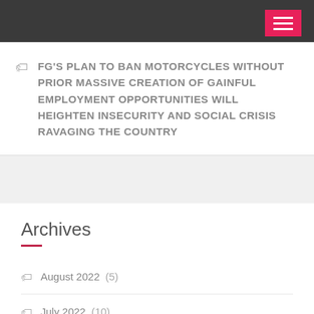FG'S PLAN TO BAN MOTORCYCLES WITHOUT PRIOR MASSIVE CREATION OF GAINFUL EMPLOYMENT OPPORTUNITIES WILL HEIGHTEN INSECURITY AND SOCIAL CRISIS RAVAGING THE COUNTRY
Archives
August 2022 (5)
July 2022 (10)